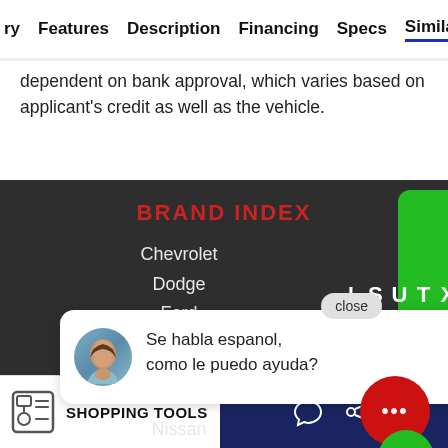ry  Features  Description  Financing  Specs  Similar
dependent on bank approval, which varies based on applicant's credit as well as the vehicle.
BRAND INDEX
Chevrolet
Dodge
Ford
[Figure (screenshot): Chat popup with avatar photo of a woman, showing text: Se habla espanol, como le puedo ayuda? with a close button]
Nissan
Ram
SHOPPING TOOLS